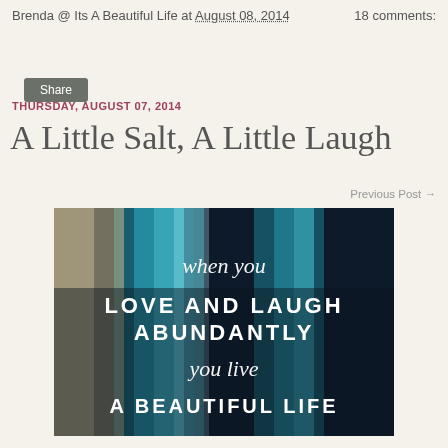Brenda @ Its A Beautiful Life at August 08, 2014    18 comments:
Share
THURSDAY, AUGUST 07, 2014
A Little Salt, A Little Laugh
Previous Post →
[Figure (photo): Inspirational quote image with dark blue/teal painted background with text: 'when you LOVE AND LAUGH ABUNDANTLY you live A BEAUTIFUL LIFE']